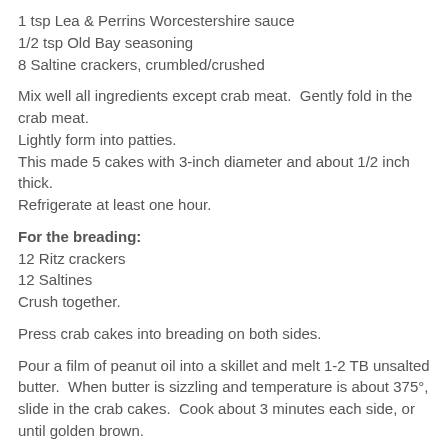1 tsp Lea & Perrins Worcestershire sauce
1/2 tsp Old Bay seasoning
8 Saltine crackers, crumbled/crushed
Mix well all ingredients except crab meat.  Gently fold in the crab meat.
Lightly form into patties.
This made 5 cakes with 3-inch diameter and about 1/2 inch thick.
Refrigerate at least one hour.
For the breading:
12 Ritz crackers
12 Saltines
Crush together.
Press crab cakes into breading on both sides.
Pour a film of peanut oil into a skillet and melt 1-2 TB unsalted butter.  When butter is sizzling and temperature is about 375°, slide in the crab cakes.  Cook about 3 minutes each side, or until golden brown.